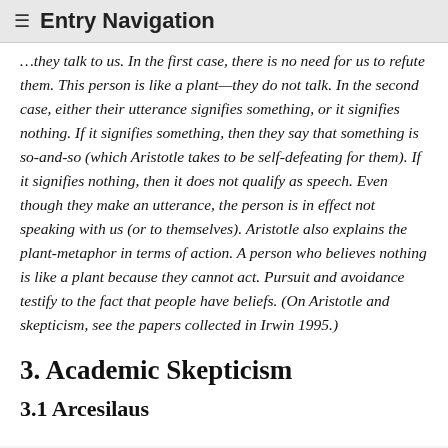≡  Entry Navigation
…they talk to us. In the first case, there is no need for us to refute them. This person is like a plant—they do not talk. In the second case, either their utterance signifies something, or it signifies nothing. If it signifies something, then they say that something is so-and-so (which Aristotle takes to be self-defeating for them). If it signifies nothing, then it does not qualify as speech. Even though they make an utterance, the person is in effect not speaking with us (or to themselves). Aristotle also explains the plant-metaphor in terms of action. A person who believes nothing is like a plant because they cannot act. Pursuit and avoidance testify to the fact that people have beliefs. (On Aristotle and skepticism, see the papers collected in Irwin 1995.)
3. Academic Skepticism
3.1 Arcesilaus